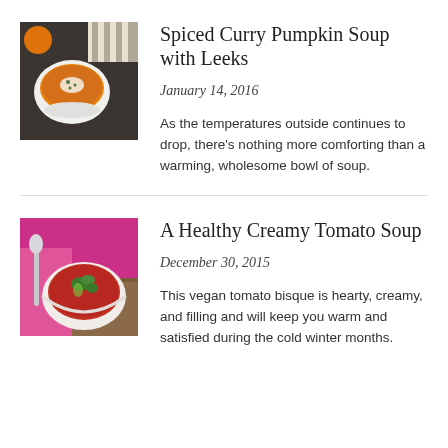[Figure (photo): Bowl of orange pumpkin soup with cream and herbs on a dark background with a striped cloth]
Spiced Curry Pumpkin Soup with Leeks
January 14, 2016
As the temperatures outside continues to drop, there's nothing more comforting than a warming, wholesome bowl of soup.
[Figure (photo): Bowl of red tomato soup with herb garnish on a pink background with a spoon]
A Healthy Creamy Tomato Soup
December 30, 2015
This vegan tomato bisque is hearty, creamy, and filling and will keep you warm and satisfied during the cold winter months.